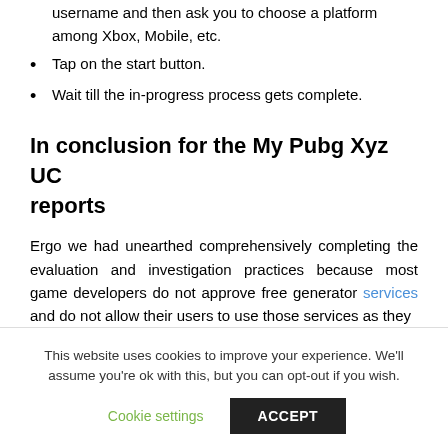username and then ask you to choose a platform among Xbox, Mobile, etc.
Tap on the start button.
Wait till the in-progress process gets complete.
In conclusion for the My Pubg Xyz UC reports
Ergo we had unearthed comprehensively completing the evaluation and investigation practices because most game developers do not approve free generator services and do not allow their users to use those services as they
This website uses cookies to improve your experience. We'll assume you're ok with this, but you can opt-out if you wish.
Cookie settings   ACCEPT